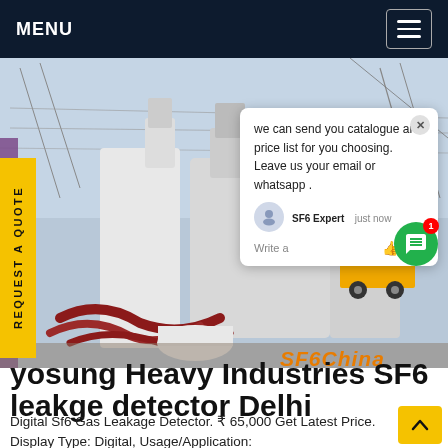MENU
[Figure (photo): Industrial SF6 electrical equipment (transformers/switchgear) at a power substation, with a yellow truck visible in the background and power lines. Watermark reads 'SF6China'.]
we can send you catalogue and price list for you choosing. Leave us your email or whatsapp .
SF6 Expert   just now
Write a
REQUEST A QUOTE
Hyosung Heavy Industries SF6 leakge detector Delhi
Digital Sf6 Gas Leakage Detector. ₹ 65,000 Get Latest Price. Display Type: Digital, Usage/Application: